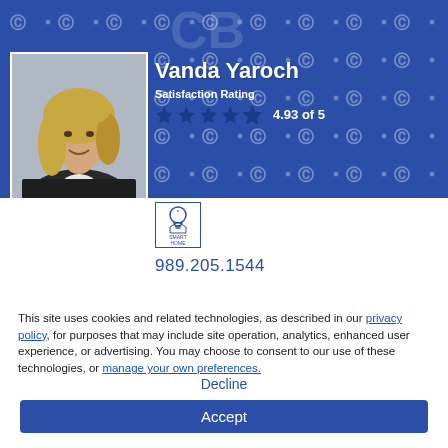[Figure (photo): Blue branded banner background with repeating CBS/coldwell banker logo pattern]
[Figure (photo): Professional headshot of Vanda Yaroch, a blonde woman in a dark blazer, smiling]
Vanda Yaroch
Satisfaction Rating
4.93 of 5
[Figure (logo): Smart Home icon badge - light bulb with house, small text reading SMART HOME]
989.205.1544
This site uses cookies and related technologies, as described in our privacy policy, for purposes that may include site operation, analytics, enhanced user experience, or advertising. You may choose to consent to our use of these technologies, or manage your own preferences.
Decline
Accept